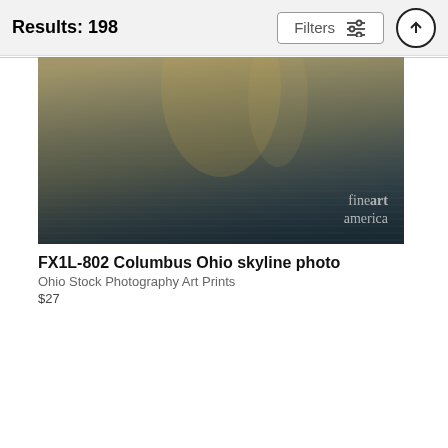Results: 198
Filters
[Figure (photo): Panoramic photo of Columbus Ohio skyline reflection on water, dark blue-green rippled water surface with golden light reflections, fine art america watermark in bottom right]
FX1L-802 Columbus Ohio skyline photo
Ohio Stock Photography Art Prints
$27